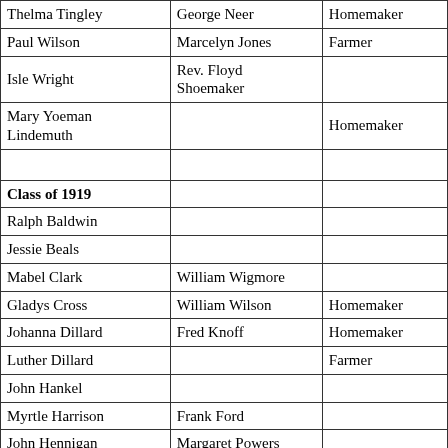| Name | Spouse/Partner | Occupation |
| --- | --- | --- |
| Thelma Tingley | George Neer | Homemaker |
| Paul Wilson | Marcelyn Jones | Farmer |
| Isle Wright | Rev. Floyd Shoemaker |  |
| Mary Yoeman Lindemuth |  | Homemaker |
|  |  |  |
| Class of 1919 |  |  |
| Ralph Baldwin |  |  |
| Jessie Beals |  |  |
| Mabel Clark | William Wigmore |  |
| Gladys Cross | William Wilson | Homemaker |
| Johanna Dillard | Fred Knoff | Homemaker |
| Luther Dillard |  | Farmer |
| John Hankel |  |  |
| Myrtle Harrison | Frank Ford |  |
| John Hennigan | Margaret Powers |  |
| Floyd Neff |  |  |
|  |  |  |